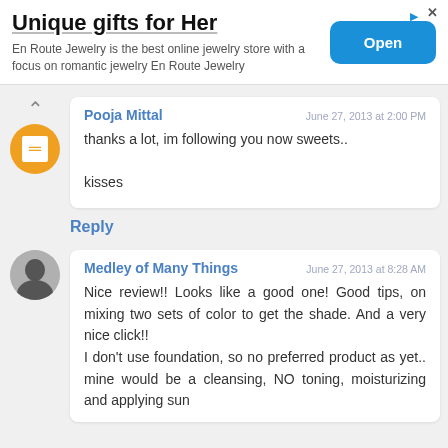[Figure (screenshot): Advertisement banner for En Route Jewelry with 'Unique gifts for Her' title, subtitle text, and blue Open button]
Pooja Mittal · June 27, 2013 at 2:00 PM · thanks a lot, im following you now sweets.. kisses
Reply
Medley of Many Things · June 27, 2013 at 8:28 AM · Nice review!! Looks like a good one! Good tips, on mixing two sets of color to get the shade. And a very nice click!! I don't use foundation, so no preferred product as yet.. mine would be a cleansing, NO toning, moisturizing and applying sun